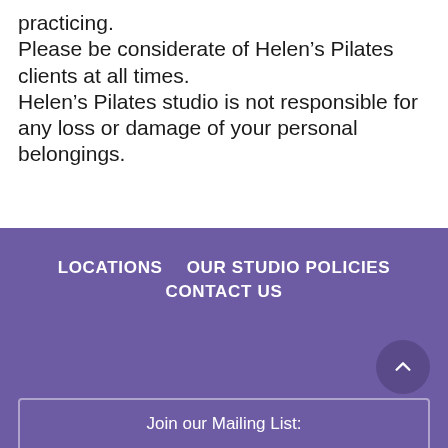practicing.
Please be considerate of Helen's Pilates clients at all times.
Helen's Pilates studio is not responsible for any loss or damage of your personal belongings.
LOCATIONS   OUR STUDIO POLICIES   CONTACT US   Join our Mailing List: